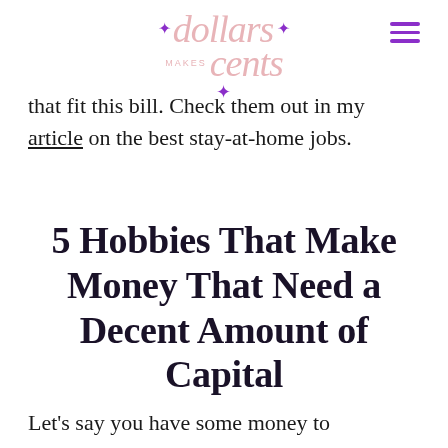dollars cents makes — logo with hamburger menu
that fit this bill. Check them out in my article on the best stay-at-home jobs.
5 Hobbies That Make Money That Need a Decent Amount of Capital
Let's say you have some money to